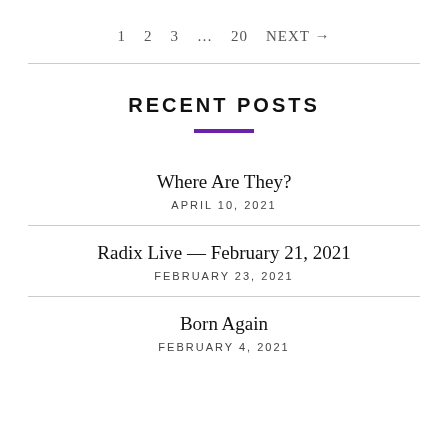1  2  3  ...  20  NEXT →
RECENT POSTS
Where Are They?
APRIL 10, 2021
Radix Live — February 21, 2021
FEBRUARY 23, 2021
Born Again
FEBRUARY 4, 2021